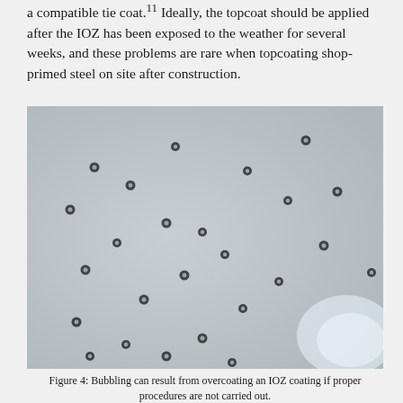a compatible tie coat.¹¹ Ideally, the topcoat should be applied after the IOZ has been exposed to the weather for several weeks, and these problems are rare when topcoating shop-primed steel on site after construction.
[Figure (photo): Close-up photograph of a painted steel surface showing bubbling defects — numerous small dark circular craters scattered across a light grey textured coating surface, with a shiny patch visible in the lower right corner.]
Figure 4: Bubbling can result from overcoating an IOZ coating if proper procedures are not carried out.